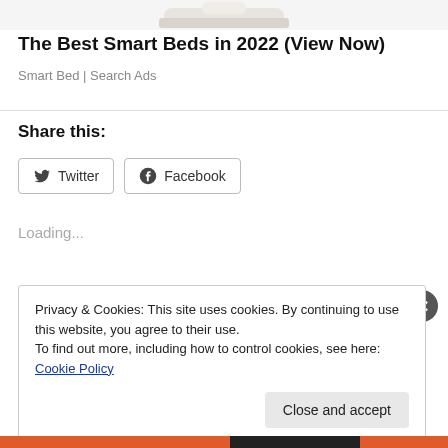[Figure (illustration): Partial view of a white bed/mattress at top of page (advertisement image, cropped)]
The Best Smart Beds in 2022 (View Now)
Smart Bed | Search Ads
Share this:
Twitter  Facebook
Loading...
Privacy & Cookies: This site uses cookies. By continuing to use this website, you agree to their use.
To find out more, including how to control cookies, see here: Cookie Policy
Close and accept